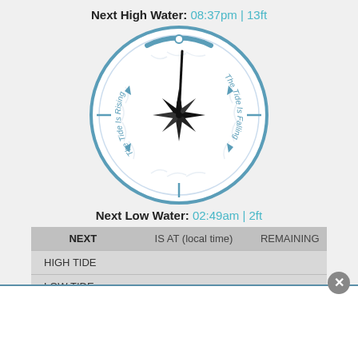Next High Water: 08:37pm | 13ft
[Figure (other): Tide clock dial showing compass rose star, tide rising on left arc, tide falling on right arc, clock hand pointing near top, decorative leaf border, blue circular ring with arrows]
Next Low Water: 02:49am | 2ft
| NEXT | IS AT (local time) | REMAINING |
| --- | --- | --- |
| HIGH TIDE |  |  |
| LOW TIDE |  |  |